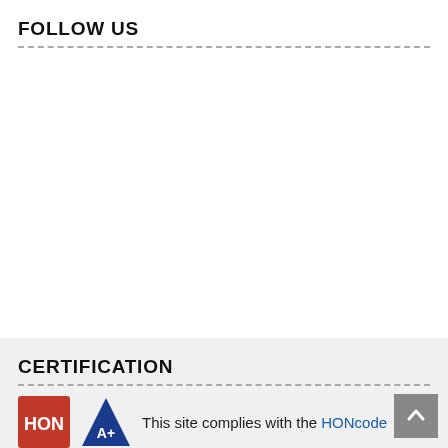FOLLOW US
CERTIFICATION
This site complies with the HONcode